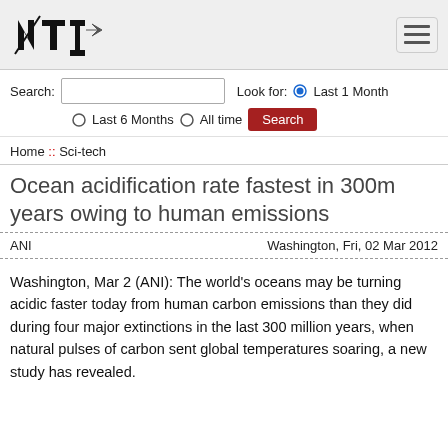NTI logo and navigation hamburger menu
Search: [input] Look for: (•) Last 1 Month ○ Last 6 Months ○ All time [Search]
Home :: Sci-tech
Ocean acidification rate fastest in 300m years owing to human emissions
ANI   Washington, Fri, 02 Mar 2012
Washington, Mar 2 (ANI): The world's oceans may be turning acidic faster today from human carbon emissions than they did during four major extinctions in the last 300 million years, when natural pulses of carbon sent global temperatures soaring, a new study has revealed.